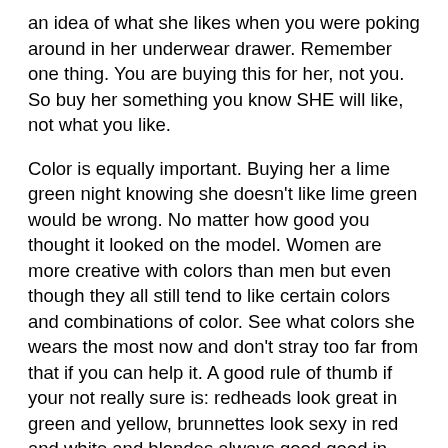an idea of what she likes when you were poking around in her underwear drawer. Remember one thing. You are buying this for her, not you. So buy her something you know SHE will like, not what you like.
Color is equally important. Buying her a lime green night knowing she doesn't like lime green would be wrong. No matter how good you thought it looked on the model. Women are more creative with colors than men but even though they all still tend to like certain colors and combinations of color. See what colors she wears the most now and don't stray too far from that if you can help it. A good rule of thumb if your not really sure is: redheads look great in green and yellow, brunnettes look sexy in red and white and blondes always good good in black and blue.